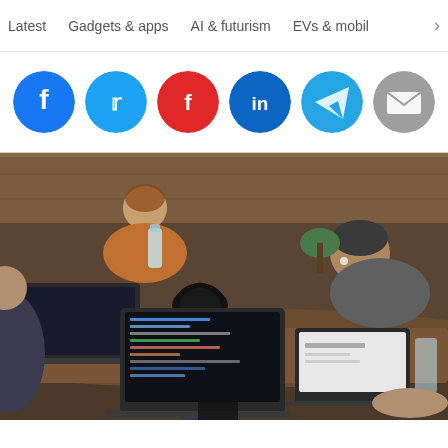Latest | Gadgets & apps | AI & futurism | EVs & mobil >
[Figure (infographic): Row of social media share buttons: Facebook (blue circle), Twitter (blue circle), Flipboard (red circle), LinkedIn (blue circle), Telegram (teal circle), Email (grey circle)]
[Figure (photo): Group of people working on laptops at a wooden table in a coffee shop or co-working space. Center person wears headphones and a dark blue top. Background shows two more people, one in orange and one in a grey t-shirt. Multiple open laptops visible on the table.]